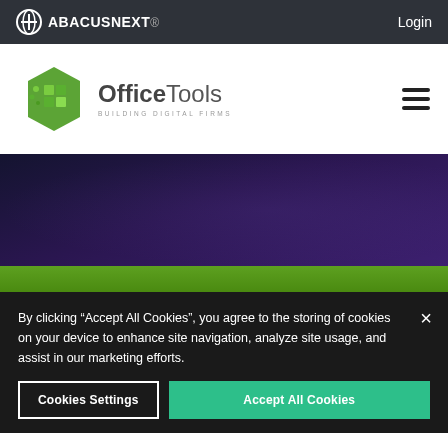AbacusNext Login
[Figure (logo): OfficeTools logo with green hexagon icon and text 'OfficeTools BUILDING DIGITAL FIRMS']
[Figure (photo): Dark purple/navy textured hero banner background]
By clicking “Accept All Cookies”, you agree to the storing of cookies on your device to enhance site navigation, analyze site usage, and assist in our marketing efforts.
Cookies Settings
Accept All Cookies